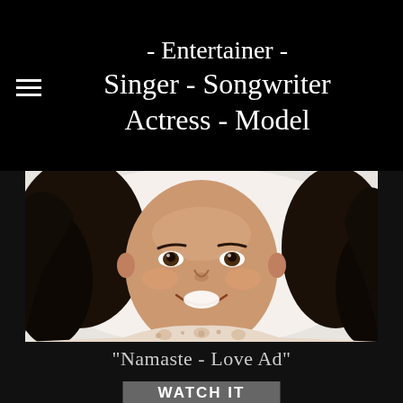- Entertainer - Singer - Songwriter Actress - Model
[Figure (photo): Portrait photo of a smiling young girl with dark curly hair, wearing a floral-patterned top, against a white/light background]
“Namaste - Love Ad”
WATCH IT